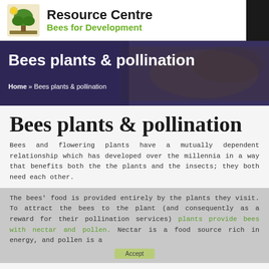Resource Centre
Bees for Development
[Figure (illustration): Tree illustration logo for Bees for Development Resource Centre]
Bees plants & pollination
Home » Bees plants & pollination
Bees plants & pollination
Bees and flowering plants have a mutually dependent relationship which has developed over the millennia in a way that benefits both the the plants and the insects; they both need each other.
The bees' food is provided entirely by the plants they visit. To attract the bees to the plant (and consequently as a reward for their pollination services) plants provide bees with nectar and pollen. Nectar is a food source rich in energy, and pollen is a